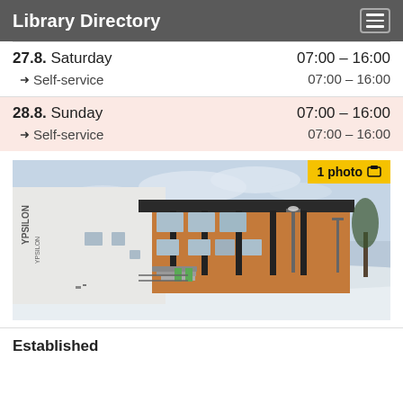Library Directory
| Date | Day | Hours |
| --- | --- | --- |
| 27.8. | Saturday | 07:00 – 16:00 |
|  | → Self-service | 07:00 – 16:00 |
| 28.8. | Sunday | 07:00 – 16:00 |
|  | → Self-service | 07:00 – 16:00 |
[Figure (photo): Exterior photo of a library building called YPSILON in winter with snow on the ground. The building has a white section and an orange/wood-clad section with a covered entrance area and street lights visible.]
Established